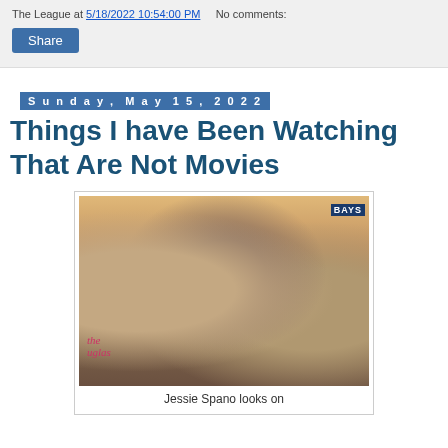The League at 5/18/2022 10:54:00 PM   No comments:
Share
Sunday, May 15, 2022
Things I have Been Watching That Are Not Movies
[Figure (photo): Two people (man in Bayside Tigers t-shirt and hoodie, woman in grey blazer holding books) standing in front of a crowd with signs. A sign in the foreground reads 'the uglas'.]
Jessie Spano looks on